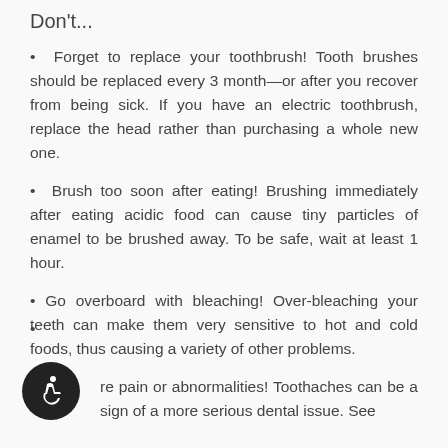Don't...
Forget to replace your toothbrush! Tooth brushes should be replaced every 3 month—or after you recover from being sick. If you have an electric toothbrush, replace the head rather than purchasing a whole new one.
Brush too soon after eating! Brushing immediately after eating acidic food can cause tiny particles of enamel to be brushed away. To be safe, wait at least 1 hour.
Go overboard with bleaching! Over-bleaching your teeth can make them very sensitive to hot and cold foods, thus causing a variety of other problems.
Ignore pain or abnormalities! Toothaches can be a sign of a more serious dental issue. See